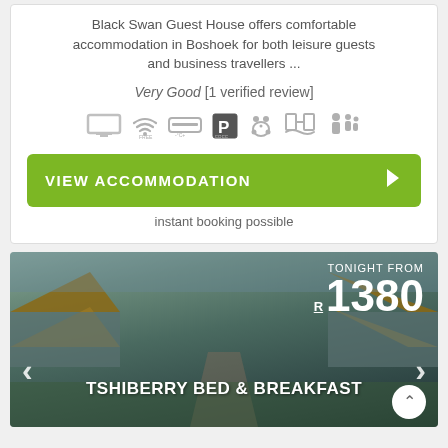Black Swan Guest House offers comfortable accommodation in Boshoek for both leisure guests and business travellers ...
Very Good [1 verified review]
[Figure (infographic): Row of amenity icons: TV, WiFi, air conditioning, free parking, pets, pool, family]
[Figure (other): Green button with lightning bolt icon labeled VIEW ACCOMMODATION]
instant booking possible
[Figure (photo): Photo of Tshiberry Bed & Breakfast showing a row of thatched-roof lodge units along a central pathway, with text overlay showing TONIGHT FROM R 1380 and navigation arrows]
TONIGHT FROM
R 1380
TSHIBERRY BED & BREAKFAST